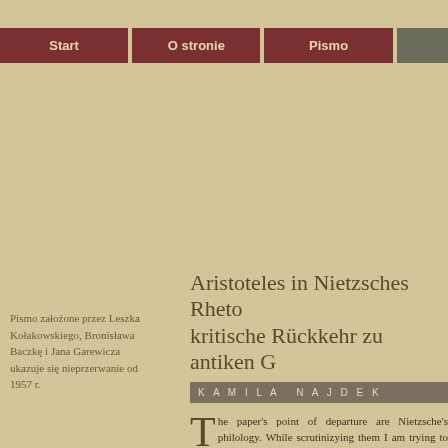Start | O stronie | Pismo
Pismo założone przez Leszka Kołakowskiego, Bronisława Baczkę i Jana Garewicza ukazuje się nieprzerwanie od 1957 r.
Aristoteles in Nietzsches Rheto... kritische Rückkehr zu antiken G...
KAMILA NAJDEK
The paper's point of departure are Nietzsche's philology. While scrutinizying them I am trying to the ancient philosophy than we usually assume. I beli rhetoric, even if the subject was considered of lesser im